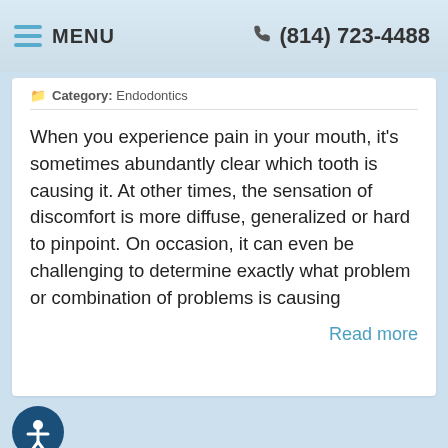MENU  (814) 723-4488
Category: Endodontics
When you experience pain in your mouth, it's sometimes abundantly clear which tooth is causing it. At other times, the sensation of discomfort is more diffuse, generalized or hard to pinpoint. On occasion, it can even be challenging to determine exactly what problem or combination of problems is causing
Read more